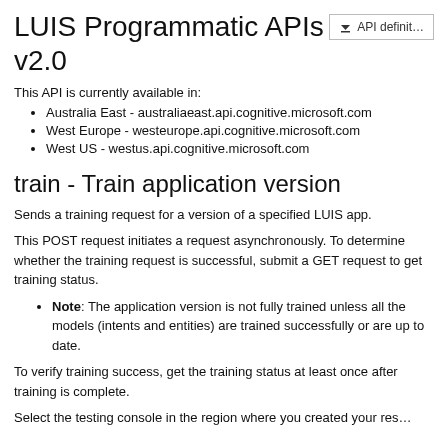LUIS Programmatic APIs v2.0
This API is currently available in:
Australia East - australiaeast.api.cognitive.microsoft.com
West Europe - westeurope.api.cognitive.microsoft.com
West US - westus.api.cognitive.microsoft.com
train - Train application version
Sends a training request for a version of a specified LUIS app.
This POST request initiates a request asynchronously. To determine whether the training request is successful, submit a GET request to get training status.
Note: The application version is not fully trained unless all the models (intents and entities) are trained successfully or are up to date.
To verify training success, get the training status at least once after training is complete.
Select the testing console in the region where you created your resource.